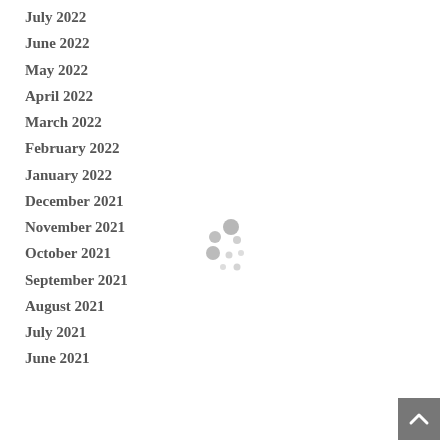July 2022
June 2022
May 2022
April 2022
March 2022
February 2022
January 2022
December 2021
November 2021
October 2021
September 2021
August 2021
July 2021
June 2021
[Figure (other): Loading spinner: a cluster of grey dots of varying sizes arranged in a circular/scattered pattern, indicating a loading state]
[Figure (other): Back to top button: a grey square button with a white upward-pointing chevron/caret icon]